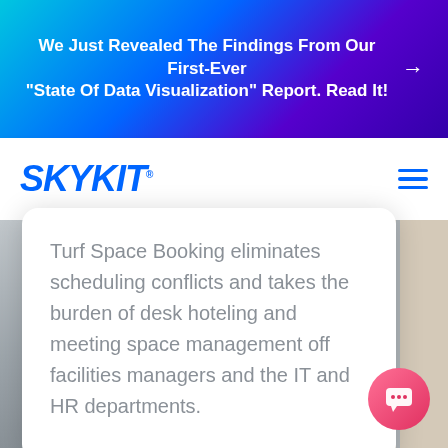We Just Revealed The Findings From Our First-Ever "State Of Data Visualization" Report. Read It! →
[Figure (logo): SKYKIT logo in blue bold italic text with registered trademark symbol]
Turf Space Booking eliminates scheduling conflicts and takes the burden of desk hoteling and meeting space management off facilities managers and the IT and HR departments.
[Figure (illustration): Office room background with grey walls and wooden panel on right side]
[Figure (other): Pink/red circular chat button with speech bubble icon in bottom right corner]